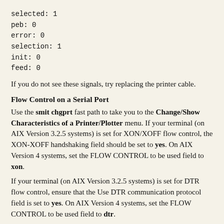selected:  1
peb:       0
error:     0
selection: 1
init:      0
feed:      0
If you do not see these signals, try replacing the printer cable.
Flow Control on a Serial Port
Use the smit chgprt fast path to take you to the Change/Show Characteristics of a Printer/Plotter menu. If your terminal (on AIX Version 3.2.5 systems) is set for XON/XOFF flow control, the XON-XOFF handshaking field should be set to yes. On AIX Version 4 systems, set the FLOW CONTROL to be used field to xon.
If your terminal (on AIX Version 3.2.5 systems) is set for DTR flow control, ensure that the Use DTR communication protocol field is set to yes. On AIX Version 4 systems, set the FLOW CONTROL to be used field to dtr.
Slew Rate